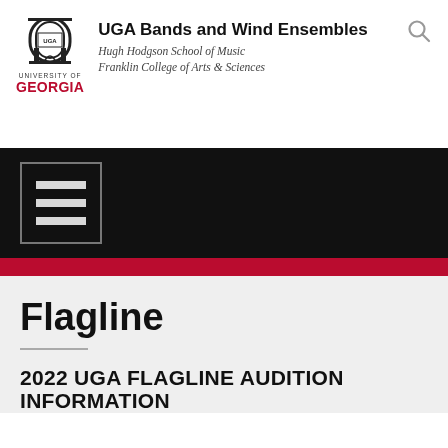[Figure (logo): University of Georgia arch logo with 'UNIVERSITY OF GEORGIA' text and red GEORGIA wordmark, alongside UGA Bands and Wind Ensembles header text]
UGA Bands and Wind Ensembles
Hugh Hodgson School of Music
Franklin College of Arts & Sciences
[Figure (other): Black navigation bar with hamburger menu icon (three horizontal lines in a bordered box)]
Flagline
2022 UGA FLAGLINE AUDITION INFORMATION